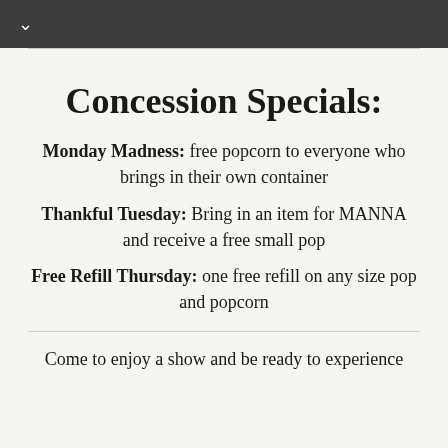✓
Concession Specials:
Monday Madness: free popcorn to everyone who brings in their own container
Thankful Tuesday: Bring in an item for MANNA and receive a free small pop
Free Refill Thursday: one free refill on any size pop and popcorn
Come to enjoy a show and be ready to experience